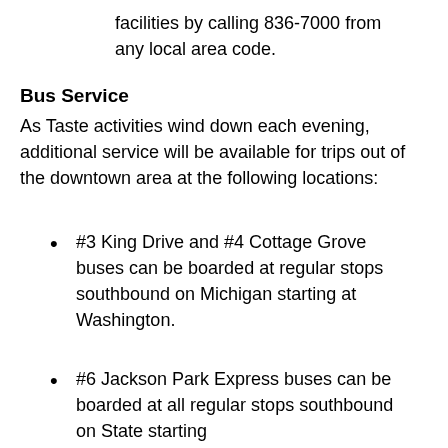facilities by calling 836-7000 from any local area code.
Bus Service
As Taste activities wind down each evening, additional service will be available for trips out of the downtown area at the following locations:
#3 King Drive and #4 Cottage Grove buses can be boarded at regular stops southbound on Michigan starting at Washington.
#6 Jackson Park Express buses can be boarded at all regular stops southbound on State starting